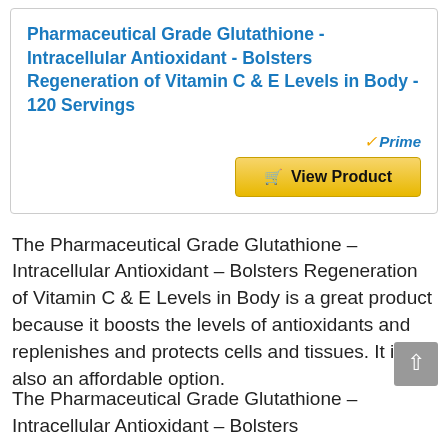Pharmaceutical Grade Glutathione - Intracellular Antioxidant - Bolsters Regeneration of Vitamin C & E Levels in Body - 120 Servings
[Figure (other): Amazon Prime badge with checkmark and 'View Product' button]
The Pharmaceutical Grade Glutathione – Intracellular Antioxidant – Bolsters Regeneration of Vitamin C & E Levels in Body is a great product because it boosts the levels of antioxidants and replenishes and protects cells and tissues. It is also an affordable option.
The Pharmaceutical Grade Glutathione – Intracellular Antioxidant – Bolsters